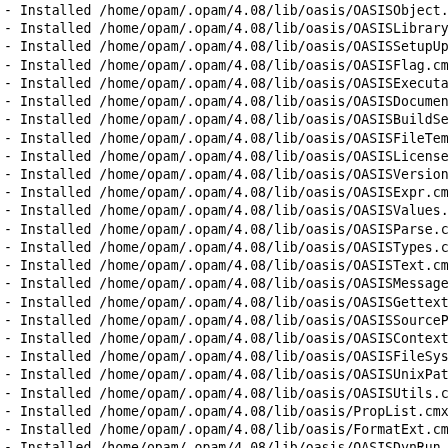- Installed /home/opam/.opam/4.08/lib/oasis/OASISObject.c
- Installed /home/opam/.opam/4.08/lib/oasis/OASISLibrary
- Installed /home/opam/.opam/4.08/lib/oasis/OASISSetupUpd
- Installed /home/opam/.opam/4.08/lib/oasis/OASISFlag.cmx
- Installed /home/opam/.opam/4.08/lib/oasis/OASISExecutab
- Installed /home/opam/.opam/4.08/lib/oasis/OASISDocument
- Installed /home/opam/.opam/4.08/lib/oasis/OASISBuildSec
- Installed /home/opam/.opam/4.08/lib/oasis/OASISFileTemp
- Installed /home/opam/.opam/4.08/lib/oasis/OASISLicense
- Installed /home/opam/.opam/4.08/lib/oasis/OASISVersion
- Installed /home/opam/.opam/4.08/lib/oasis/OASISExpr.cmx
- Installed /home/opam/.opam/4.08/lib/oasis/OASISValues.c
- Installed /home/opam/.opam/4.08/lib/oasis/OASISParse.cm
- Installed /home/opam/.opam/4.08/lib/oasis/OASISTypes.cm
- Installed /home/opam/.opam/4.08/lib/oasis/OASISText.cmx
- Installed /home/opam/.opam/4.08/lib/oasis/OASISMessage
- Installed /home/opam/.opam/4.08/lib/oasis/OASISGettext
- Installed /home/opam/.opam/4.08/lib/oasis/OASISSourcePa
- Installed /home/opam/.opam/4.08/lib/oasis/OASISContext
- Installed /home/opam/.opam/4.08/lib/oasis/OASISFileSyst
- Installed /home/opam/.opam/4.08/lib/oasis/OASISUnixPath
- Installed /home/opam/.opam/4.08/lib/oasis/OASISUtils.cm
- Installed /home/opam/.opam/4.08/lib/oasis/PropList.cmx
- Installed /home/opam/.opam/4.08/lib/oasis/FormatExt.cmx
- Installed /home/opam/.opam/4.08/lib/oasis/OASISDynRun.m
- Installed /home/opam/.opam/4.08/lib/oasis/dynrun.cma
- Installed /home/opam/.opam/4.08/lib/oasis/dynrun.cmxa
- Installed /home/opam/.opam/4.08/lib/oasis/dynrun.a
- Installed /home/opam/.opam/4.08/lib/oasis/dynrun.cmxs
- Installed /home/opam/.opam/4.08/lib/oasis/OASISDynRun.c
- Installed /home/opam/.opam/4.08/lib/oasis/OASIS...